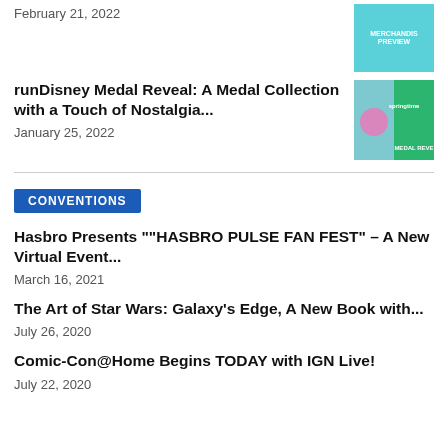February 21, 2022
runDisney Medal Reveal: A Medal Collection with a Touch of Nostalgia...
January 25, 2022
[Figure (photo): runDisney medal reveal thumbnail image]
CONVENTIONS
Hasbro Presents "“HASBRO PULSE FAN FEST” – A New Virtual Event...
March 16, 2021
The Art of Star Wars: Galaxy’s Edge, A New Book with...
July 26, 2020
Comic-Con@Home Begins TODAY with IGN Live!
July 22, 2020